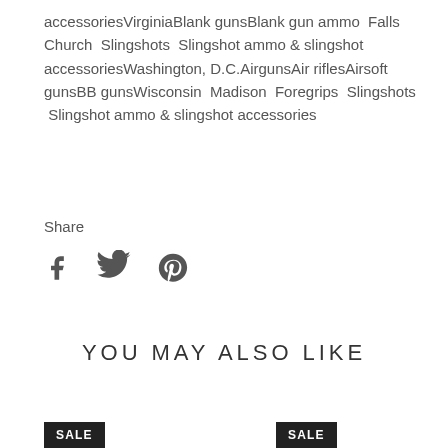accessoriesVirginiaBlank gunsBlank gun ammo  Falls Church  Slingshots  Slingshot ammo & slingshot accessoriesWashington, D.C.AirgunsAir riflesAirsoft gunsBB gunsWisconsin  Madison  Foregrips  Slingshots  Slingshot ammo & slingshot accessories
Share
[Figure (other): Social sharing icons: Facebook (f), Twitter (bird), Pinterest (P circle)]
YOU MAY ALSO LIKE
SALE
SALE